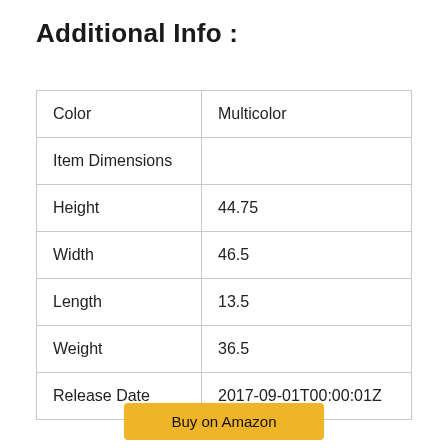Additional Info :
| Color | Multicolor |
| Item Dimensions |  |
| Height | 44.75 |
| Width | 46.5 |
| Length | 13.5 |
| Weight | 36.5 |
| Release Date | 2017-09-01T00:00:01Z |